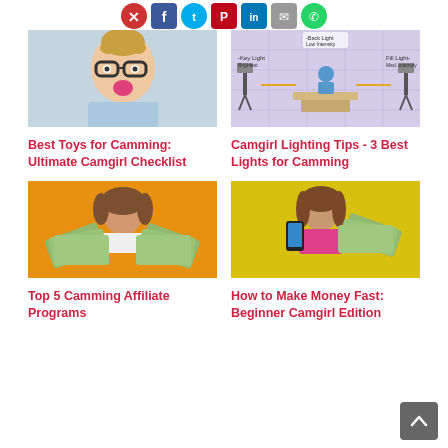[Figure (illustration): Social media share icons row: red circle icon, Facebook blue, Twitter cyan, Pinterest red, LinkedIn blue, email gray, green circle]
[Figure (photo): Surprised blonde woman with glasses and pink lips on light blue background]
Best Toys for Camming: Ultimate Camgirl Checklist
[Figure (illustration): Camgirl lighting diagram showing key light, fill light, back light setup with a figure on a platform and camera equipment labels]
Camgirl Lighting Tips - 3 Best Lights for Camming
[Figure (photo): Woman holding fan of dollar bills on orange/yellow background]
Top 5 Camming Affiliate Programs
[Figure (photo): Woman in pink top holding smartphone and fan of dollar bills on yellow background]
How to Make Money Fast: Beginner Camgirl Edition